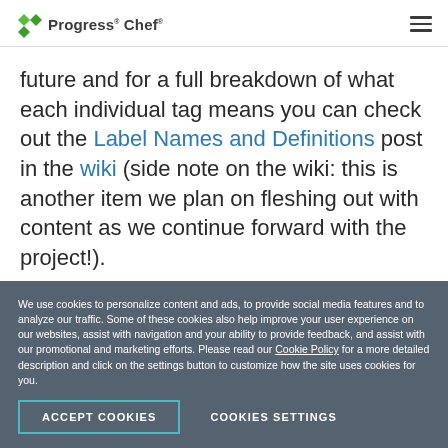Progress Chef
future and for a full breakdown of what each individual tag means you can check out the Label Names and Definitions post in the wiki (side note on the wiki: this is another item we plan on fleshing out with content as we continue forward with the project!).
We use cookies to personalize content and ads, to provide social media features and to analyze our traffic. Some of these cookies also help improve your user experience on our websites, assist with navigation and your ability to provide feedback, and assist with our promotional and marketing efforts. Please read our Cookie Policy for a more detailed description and click on the settings button to customize how the site uses cookies for you.
ACCEPT COOKIES
COOKIES SETTINGS